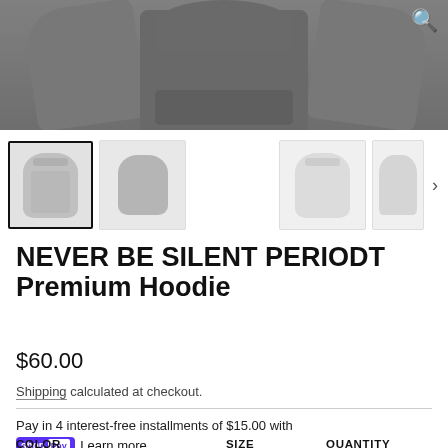[Figure (photo): Product image showing a dark gray hoodie from front view with sleeves extended, with a zoom/search icon in the top right corner]
[Figure (photo): Thumbnail gallery row showing 4 product thumbnail images of the hoodie in gray and white colorways, with a right navigation arrow]
NEVER BE SILENT PERIODT Premium Hoodie
$60.00
Shipping calculated at checkout.
Pay in 4 interest-free installments of $15.00 with shop Pay Learn more
COLOR
SIZE
QUANTITY